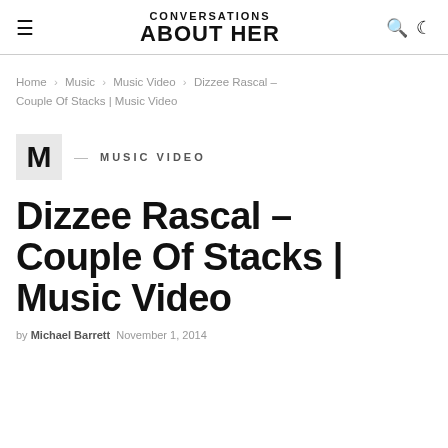CONVERSATIONS ABOUT HER
Home > Music > Music Video > Dizzee Rascal – Couple Of Stacks | Music Video
M — MUSIC VIDEO
Dizzee Rascal – Couple Of Stacks | Music Video
by Michael Barrett — November 1, 2014